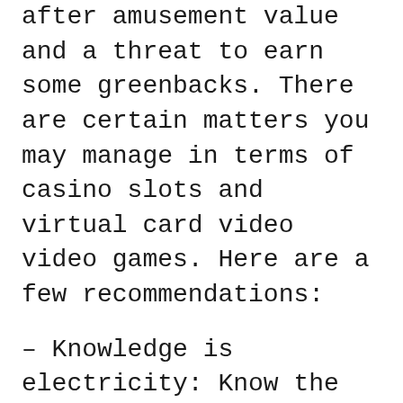after amusement value and a threat to earn some greenbacks. There are certain matters you may manage in terms of casino slots and virtual card video video games. Here are a few recommendations:
– Knowledge is electricity: Know the guidelines and intricacies of the game you preferably pick out to play. Watch a few video games earlier than you lay down any cash in an actual exercise.
– Understand the set-up of the game on the internet web page you are